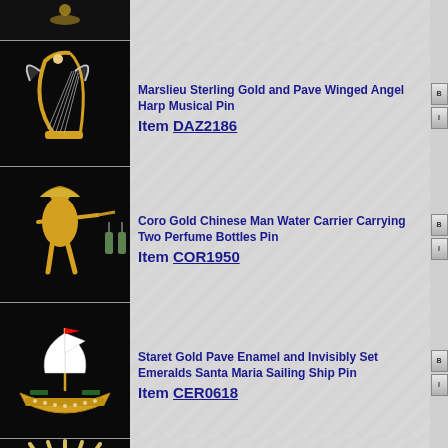[Figure (photo): Partial view of a jewelry pin at top, black background]
[Figure (photo): Marslieu Sterling Gold and Pave Winged Angel Harp Musical Pin on black background]
Marslieu Sterling Gold and Pave Winged Angel Harp Musical Pin
Item DAZ2186
[Figure (photo): Coro Gold Chinese Man Water Carrier Carrying Two Perfume Bottles Pin on black background]
Coro Gold Chinese Man Water Carrier Carrying Two Perfume Bottles Pin
Item COR1950
[Figure (photo): Staret Gold Pave Enamel and Invisibly Set Emeralds Santa Maria Sailing Ship Pin on black background]
Staret Gold Pave Enamel and Invisibly Set Emeralds Santa Maria Sailing Ship Pin
Item CER0618
[Figure (photo): Trifari Alfred Philippe Gold Pave and Baguettes pin, partial view]
Trifari 'Alfred Philippe' Gold Pave and Baguettes